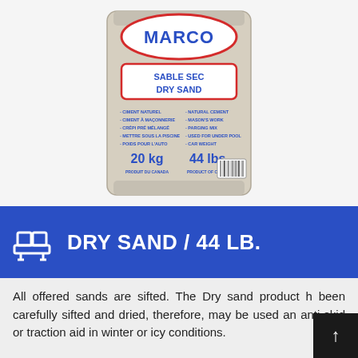[Figure (photo): A white bag of Marco brand Dry Sand (Sable Sec), 20 kg / 44 lbs., Product of Canada. The bag lists uses in French and English: natural cement, mason's work, parging mix, used for under pool, car weight.]
DRY SAND / 44 LB.
All offered sands are sifted. The Dry sand product has been carefully sifted and dried, therefore, may be used as an anti-skid or traction aid in winter or icy conditions.